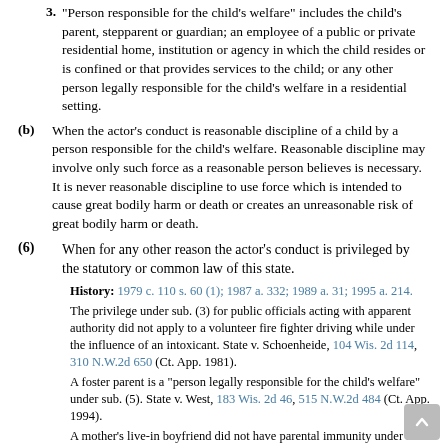3. "Person responsible for the child's welfare" includes the child's parent, stepparent or guardian; an employee of a public or private residential home, institution or agency in which the child resides or is confined or that provides services to the child; or any other person legally responsible for the child's welfare in a residential setting.
(b) When the actor's conduct is reasonable discipline of a child by a person responsible for the child's welfare. Reasonable discipline may involve only such force as a reasonable person believes is necessary. It is never reasonable discipline to use force which is intended to cause great bodily harm or death or creates an unreasonable risk of great bodily harm or death.
(6) When for any other reason the actor's conduct is privileged by the statutory or common law of this state.
History: 1979 c. 110 s. 60 (1); 1987 a. 332; 1989 a. 31; 1995 a. 214.
The privilege under sub. (3) for public officials acting with apparent authority did not apply to a volunteer fire fighter driving while under the influence of an intoxicant. State v. Schoenheide, 104 Wis. 2d 114, 310 N.W.2d 650 (Ct. App. 1981).
A foster parent is a “person legally responsible for the child’s welfare” under sub. (5). State v. West, 183 Wis. 2d 46, 515 N.W.2d 484 (Ct. App. 1994).
A mother’s live-in boyfriend did not have parental immunity under sub. (5). The boyfriend did not have legal responsibility for the mother’s children, and the term “parent” will not be interpreted to include a romantic partner. State v. Dodd, 195 Wis. 2d 565…